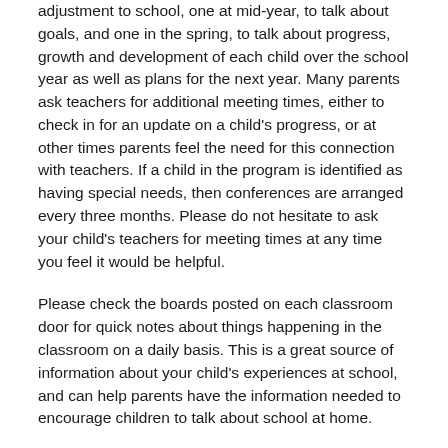adjustment to school, one at mid-year, to talk about goals, and one in the spring, to talk about progress, growth and development of each child over the school year as well as plans for the next year. Many parents ask teachers for additional meeting times, either to check in for an update on a child's progress, or at other times parents feel the need for this connection with teachers. If a child in the program is identified as having special needs, then conferences are arranged every three months. Please do not hesitate to ask your child's teachers for meeting times at any time you feel it would be helpful.
Please check the boards posted on each classroom door for quick notes about things happening in the classroom on a daily basis. This is a great source of information about your child's experiences at school, and can help parents have the information needed to encourage children to talk about school at home.
You can expect that your child's teachers will